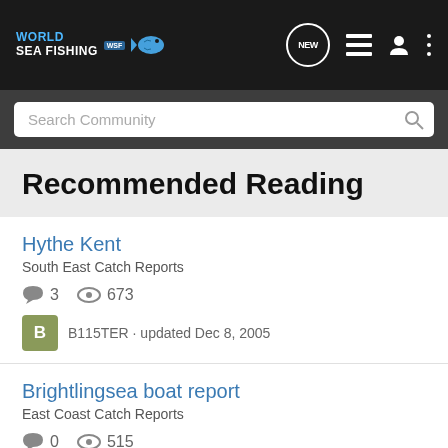[Figure (logo): World Sea Fishing WSF logo with fish icon on dark background]
Search Community
Recommended Reading
Hythe Kent
South East Catch Reports
3 comments · 673 views
B115TER · updated Dec 8, 2005
Brightlingsea boat report
East Coast Catch Reports
0 comments · 515 views
Moray · updated Oct 14, 2006